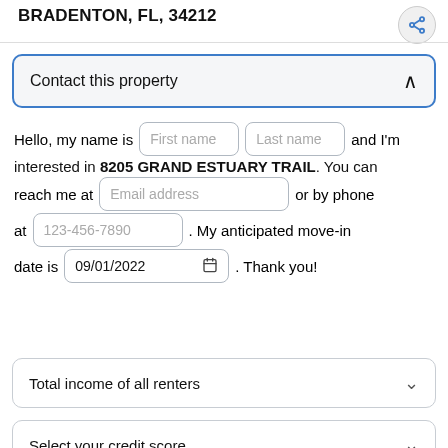BRADENTON, FL, 34212
Contact this property
Hello, my name is [First name] [Last name] and I'm interested in 8205 GRAND ESTUARY TRAIL. You can reach me at [Email address] or by phone at [123-456-7890]. My anticipated move-in date is 09/01/2022. Thank you!
Total income of all renters
Select your credit score